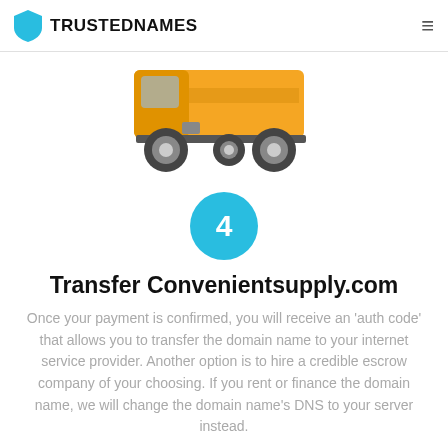TRUSTEDNAMES
[Figure (illustration): Flat illustration of a yellow delivery truck (bottom portion visible), centered on white background]
[Figure (infographic): Cyan/blue circle with white number 4 inside, representing step 4]
Transfer Convenientsupply.com
Once your payment is confirmed, you will receive an 'auth code' that allows you to transfer the domain name to your internet service provider. Another option is to hire a credible escrow company of your choosing. If you rent or finance the domain name, we will change the domain name's DNS to your server instead.